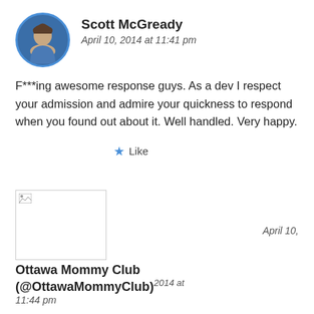Scott McGready
April 10, 2014 at 11:41 pm
F***ing awesome response guys. As a dev I respect your admission and admire your quickness to respond when you found out about it. Well handled. Very happy.
★ Like
[Figure (photo): Broken image placeholder for second commenter avatar]
April 10, 2014 at
Ottawa Mommy Club (@OttawaMommyClub)
2014 at 11:44 pm
I received an email that security vulnerability with the